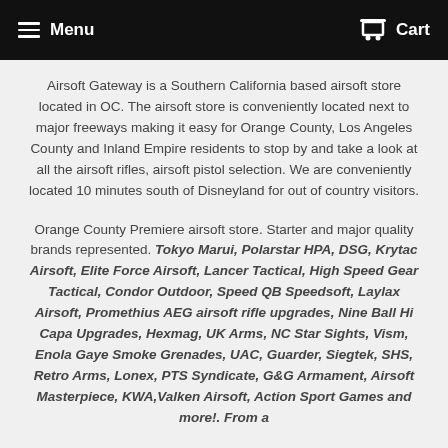Menu   Cart
Airsoft Gateway is a Southern California based airsoft store located in OC. The airsoft store is conveniently located next to major freeways making it easy for Orange County, Los Angeles County and Inland Empire residents to stop by and take a look at all the airsoft rifles, airsoft pistol selection. We are conveniently located 10 minutes south of Disneyland for out of country visitors.
Orange County Premiere airsoft store. Starter and major quality brands represented. Tokyo Marui, Polarstar HPA, DSG, Krytac Airsoft, Elite Force Airsoft, Lancer Tactical, High Speed Gear Tactical, Condor Outdoor, Speed QB Speedsoft, Laylax Airsoft, Promethius AEG airsoft rifle upgrades, Nine Ball Hi Capa Upgrades, Hexmag, UK Arms, NC Star Sights, Vism, Enola Gaye Smoke Grenades, UAC, Guarder, Siegtek, SHS, Retro Arms, Lonex, PTS Syndicate, G&G Armament, Airsoft Masterpiece, KWA,Valken Airsoft, Action Sport Games and more!. From a